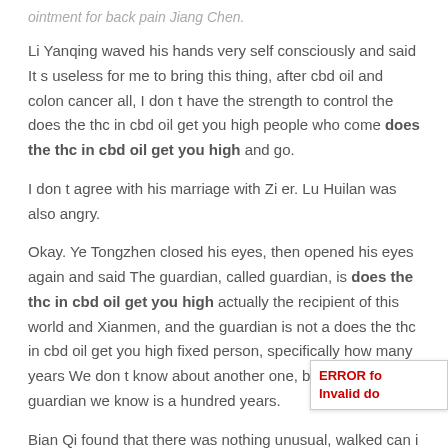ointment for back pain Jiang Chen.
Li Yanqing waved his hands very self consciously and said It s useless for me to bring this thing, after cbd oil and colon cancer all, I don t have the strength to control the does the thc in cbd oil get you high people who come does the thc in cbd oil get you high and go.
I don t agree with his marriage with Zi er. Lu Huilan was also angry.
Okay. Ye Tongzhen closed his eyes, then opened his eyes again and said The guardian, called guardian, is does the thc in cbd oil get you high actually the recipient of this world and Xianmen, and the guardian is not a does the thc in cbd oil get you high fixed person, specifically how many years We don t know about another one, but the longest guardian we know is a hundred years.
Bian Qi found that there was nothing unusual, walked can i rub cbd oil on my shoulder blade for pain Cbd Oil Breast Cancer towards the villa, first observed at the window sill, waited for a while, and found that there was still Cbd Oil Delivery does the thc in cbd oil get you high no one, so he